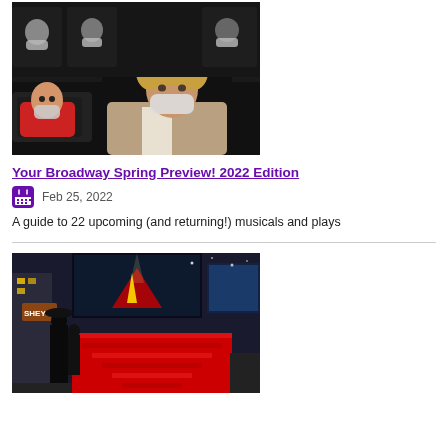[Figure (photo): Two people wearing masks sitting in a movie theater, a child in red shirt and an adult with curly hair in a tan cardigan]
Your Broadway Spring Preview! 2022 Edition
Feb 25, 2022
A guide to 22 upcoming (and returning!) musicals and plays
[Figure (photo): Times Square outdoor scene with red stairs, billboards including Hershey's, and a dark dramatic backdrop with a spotlight]